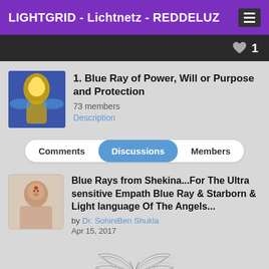LIGHTGRID - Lichtnetz - REDDELUZ
♥ 1
1. Blue Ray of Power, Will or Purpose and Protection
73 members
Description
Comments | Discussions | Members
Blue Rays from Shekina...For The Ultra sensitive Empath Blue Ray & Starborn & Light language Of The Angels...
by Dr. SohiniBen Shukla
Apr 15, 2017
[Figure (illustration): Angel wings illustration in grey/silver outline style]